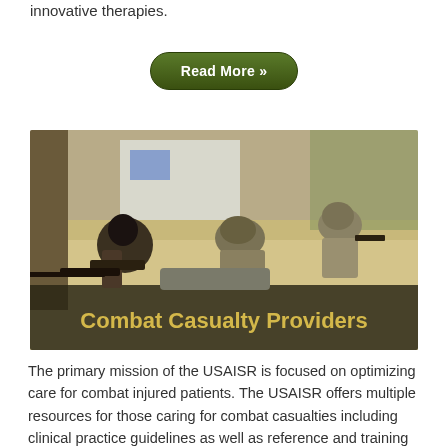innovative therapies.
Read More »
[Figure (photo): Military soldiers in combat casualty care scenario outdoors on sandy ground. Two soldiers in camouflage tend to a casualty while another provides security. A semi-transparent dark banner at the bottom reads 'Combat Casualty Providers' in gold/yellow bold text.]
Combat Casualty Providers
The primary mission of the USAISR is focused on optimizing care for combat injured patients. The USAISR offers multiple resources for those caring for combat casualties including clinical practice guidelines as well as reference and training